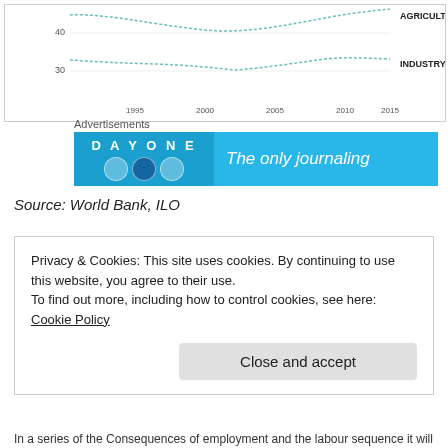[Figure (line-chart): Partial view of a line chart showing Agriculture and Industry employment trends over time (approximately 1990–2015). Agriculture line trends downward from top, Industry line is relatively flat near bottom.]
[Figure (infographic): Advertisement banner for Day One journaling app. Blue background with 'DAY ONE' text and 'The only journaling' tagline.]
Advertisements
Source: World Bank, ILO
Privacy & Cookies: This site uses cookies. By continuing to use this website, you agree to their use. To find out more, including how to control cookies, see here: Cookie Policy
Close and accept
In a series of the Consequences of employment and the labour sequence it will